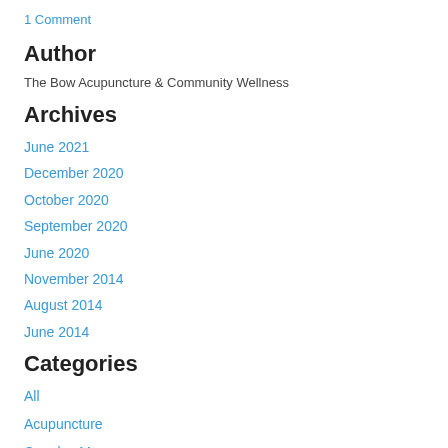1 Comment
Author
The Bow Acupuncture & Community Wellness
Archives
June 2021
December 2020
October 2020
September 2020
June 2020
November 2014
August 2014
June 2014
Categories
All
Acupuncture
Couples Massage
Holistic Health
Immunity